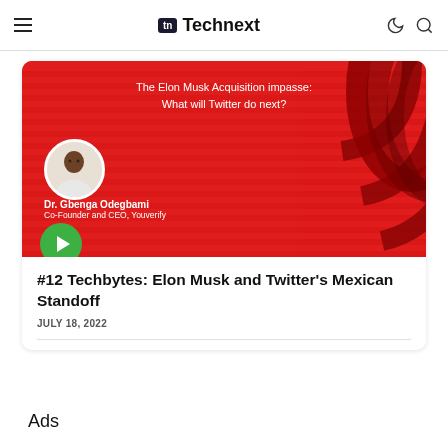Technext
[Figure (screenshot): Podcast thumbnail with red background showing 'The Elon Musk Acquisition impasse: What will Twitter do next?' with a portrait of Dr. Gbenga Odegbami, Co-Founder and CEO, Youverify, and a green play button.]
#12 Techbytes: Elon Musk and Twitter's Mexican Standoff
JULY 18, 2022
Ads